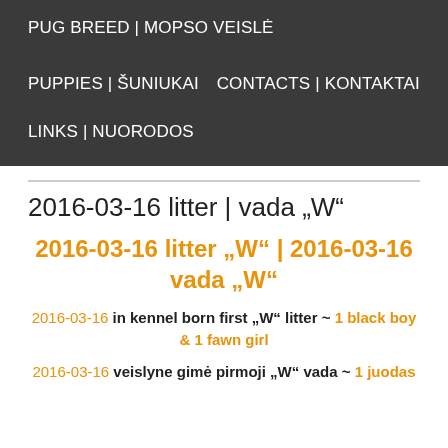PUG BREED | MOPSO VEISLĖ
PUPPIES | ŠUNIUKAI
CONTACTS | KONTAKTAI
LINKS | NUORODOS
2016-03-16 litter | vada „W“
2016-03-16 litter „W“ | 2016-03-16 vada „W“
2016-03-16 in kennel born first „W“ litter ~ 1 black boy & 1 fawn girl
2016-03-16 veislyne gimė pirmoji „W“ vada ~ 1 juodas …